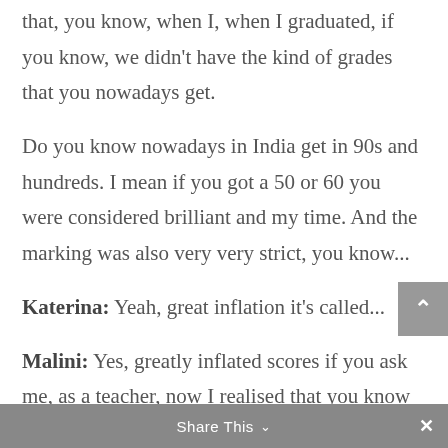that, you know, when I, when I graduated, if you know, we didn't have the kind of grades that you nowadays get.
Do you know nowadays in India get in 90s and hundreds. I mean if you got a 50 or 60 you were considered brilliant and my time. And the marking was also very very strict, you know...
Katerina: Yeah, great inflation it's called...
Malini: Yes, greatly inflated scores if you ask me, as a teacher, now I realised that you know the kids really don't remember anything and they ask me How do you
Share This ∨  ×